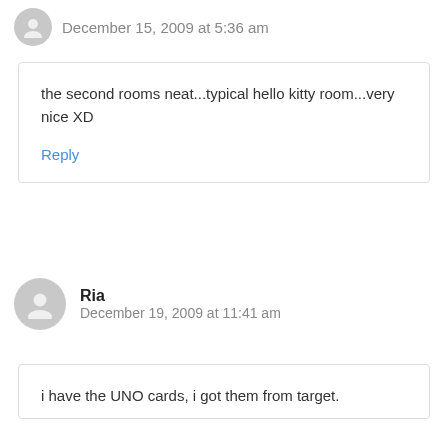December 15, 2009 at 5:36 am
the second rooms neat...typical hello kitty room...very nice XD
Reply
Ria
December 19, 2009 at 11:41 am
i have the UNO cards, i got them from target.